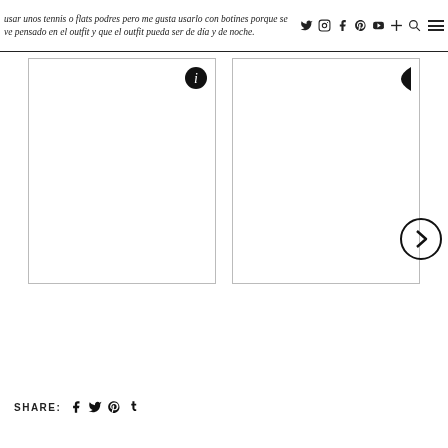usar unos tennis o flats podres pero me gusta usarlo con botines porque se ve pensado en el outfit y que el outfit pueda ser de día y de noche.
[Figure (photo): Two white/blank image placeholders side by side with navigation icons. Left image has an info icon (i) in top-right. Right image has a left-pointing arrow icon in top-right and a right-pointing navigation arrow (circle with >) on the right side.]
SHARE: f t p t